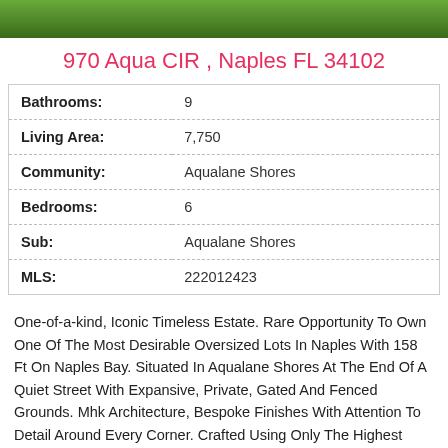[Figure (photo): Green lawn/grass photo strip at top of listing card]
970 Aqua CIR , Naples FL 34102
| Bathrooms: | 9 |
| Living Area: | 7,750 |
| Community: | Aqualane Shores |
| Bedrooms: | 6 |
| Sub: | Aqualane Shores |
| MLS: | 222012423 |
One-of-a-kind, Iconic Timeless Estate. Rare Opportunity To Own One Of The Most Desirable Oversized Lots In Naples With 158 Ft On Naples Bay. Situated In Aqualane Shores At The End Of A Quiet Street With Expansive, Private, Gated And Fenced Grounds. Mhk Architecture, Bespoke Finishes With Attention To Detail Around Every Corner. Crafted Using Only The Highest Quality Materials — Custom...
Read More
View Details
Courtesy of Premier Sotheby's